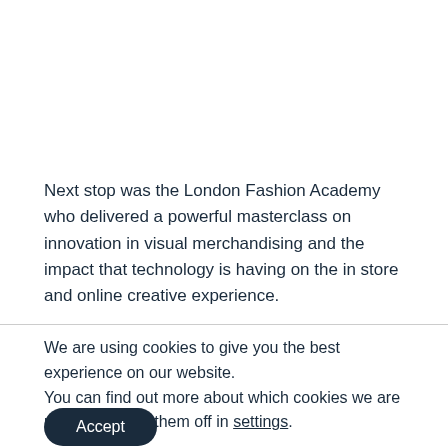Next stop was the London Fashion Academy who delivered a powerful masterclass on innovation in visual merchandising and the impact that technology is having on the in store and online creative experience.
We are using cookies to give you the best experience on our website.
You can find out more about which cookies we are using or switch them off in settings.
Accept